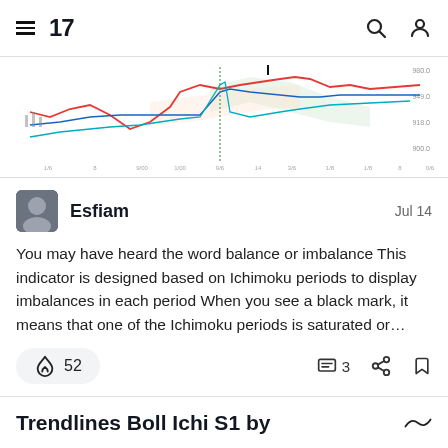TradingView navigation header
[Figure (screenshot): Financial chart showing price data with Ichimoku indicator lines in red, blue, green on white background, with price levels around 900-980 on the right axis]
Esfiam
Jul 14
You may have heard the word balance or imbalance This indicator is designed based on Ichimoku periods to display imbalances in each period When you see a black mark, it means that one of the Ichimoku periods is saturated or…
52
3
Trendlines Boll Ichi S1 by